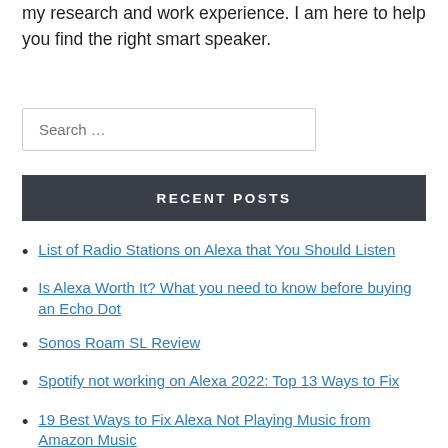my research and work experience. I am here to help you find the right smart speaker.
Search …
RECENT POSTS
List of Radio Stations on Alexa that You Should Listen
Is Alexa Worth It? What you need to know before buying an Echo Dot
Sonos Roam SL Review
Spotify not working on Alexa 2022: Top 13 Ways to Fix
19 Best Ways to Fix Alexa Not Playing Music from Amazon Music
Does Alexa Need WiFi